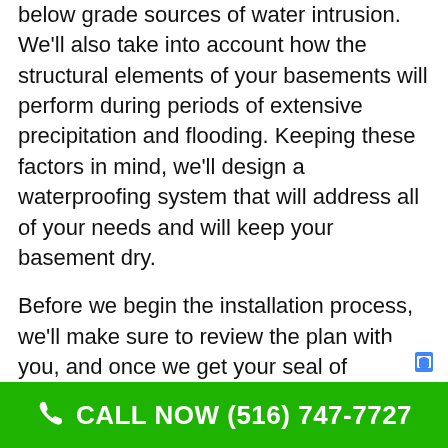below grade sources of water intrusion. We'll also take into account how the structural elements of your basements will perform during periods of extensive precipitation and flooding. Keeping these factors in mind, we'll design a waterproofing system that will address all of your needs and will keep your basement dry.
Before we begin the installation process, we'll make sure to review the plan with you, and once we get your seal of approval, our technicians will begin the installation process. Using superior quality tools and products and proven techniques, we'll begin the process of waterproofing your basement. Our objective is to get the job done the right way the first time around, and we're happy to say that's exactly what we deliver. In the more than 65 years that we have been in business, we have successfully waterproofed thousands of basements for
CALL NOW (516) 747-7727